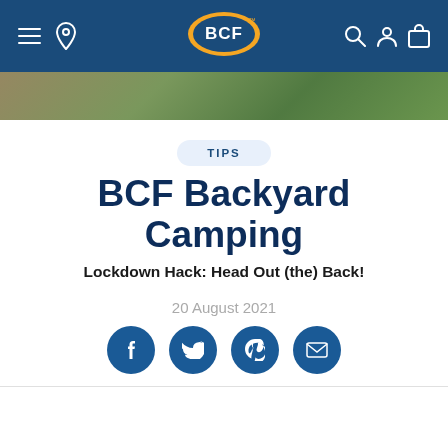[Figure (screenshot): BCF website navigation bar with hamburger menu, location pin icon, BCF logo in center, and search, account, cart icons on right]
[Figure (photo): Partial hero image showing outdoor camping scene with green grass and tent]
TIPS
BCF Backyard Camping
Lockdown Hack: Head Out (the) Back!
20 August 2021
[Figure (other): Social sharing icons row: Facebook, Twitter, Pinterest, Email]